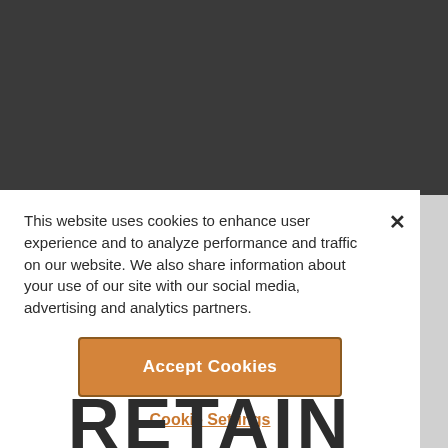[Figure (screenshot): Dark gray background area representing a website header/content area]
This website uses cookies to enhance user experience and to analyze performance and traffic on our website. We also share information about your use of our site with our social media, advertising and analytics partners.
Accept Cookies
Cookie Settings
RETAIN